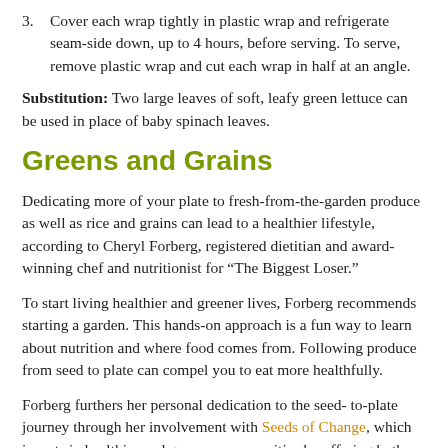3. Cover each wrap tightly in plastic wrap and refrigerate seam-side down, up to 4 hours, before serving. To serve, remove plastic wrap and cut each wrap in half at an angle.
Substitution: Two large leaves of soft, leafy green lettuce can be used in place of baby spinach leaves.
Greens and Grains
Dedicating more of your plate to fresh-from-the-garden produce as well as rice and grains can lead to a healthier lifestyle, according to Cheryl Forberg, registered dietitian and award-winning chef and nutritionist for “The Biggest Loser.”
To start living healthier and greener lives, Forberg recommends starting a garden. This hands-on approach is a fun way to learn about nutrition and where food comes from. Following produce from seed to plate can compel you to eat more healthfully.
Forberg furthers her personal dedication to the seed- to-plate journey through her involvement with Seeds of Change, which invests in healthier and greener communities by offering both organic and local food and dining programs and products.